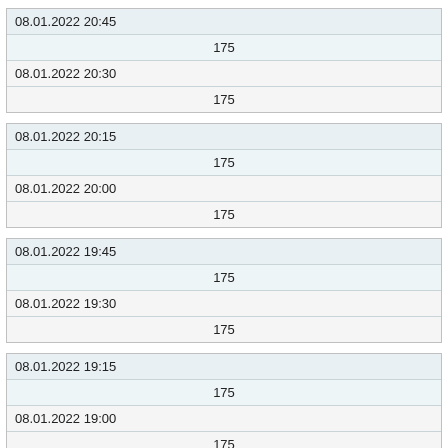| 08.01.2022 20:45 |
| 175 |
| 08.01.2022 20:30 |
| 175 |
| 08.01.2022 20:15 |
| 175 |
| 08.01.2022 20:00 |
| 175 |
| 08.01.2022 19:45 |
| 175 |
| 08.01.2022 19:30 |
| 175 |
| 08.01.2022 19:15 |
| 175 |
| 08.01.2022 19:00 |
| 175 |